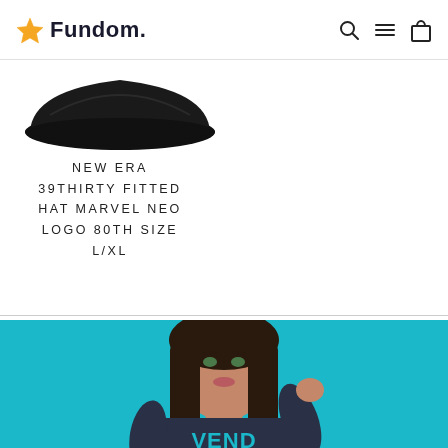Fundom.
[Figure (photo): Black New Era 39Thirty fitted hat, partially visible from bottom edge]
NEW ERA 39THIRTY FITTED HAT MARVEL NEO LOGO 80TH SIZE L/XL
[Figure (photo): Young woman with dark hair wearing a dark navy Venom graphic sweatshirt against a teal/turquoise background]